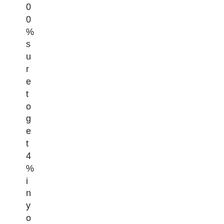0
0
%
s
u
r
e
t
o
g
e
t
4
%
i
n
y
o
u
r
p
o
c
k
e
t
r
i